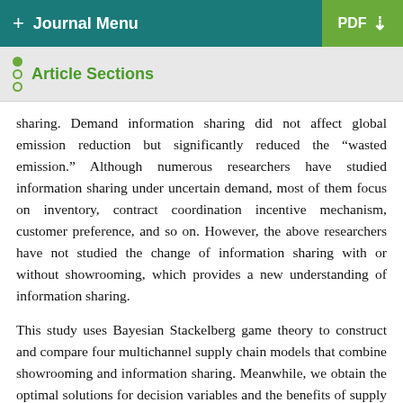+ Journal Menu | PDF
Article Sections
sharing. Demand information sharing did not affect global emission reduction but significantly reduced the “wasted emission.” Although numerous researchers have studied information sharing under uncertain demand, most of them focus on inventory, contract coordination incentive mechanism, customer preference, and so on. However, the above researchers have not studied the change of information sharing with or without showrooming, which provides a new understanding of information sharing.
This study uses Bayesian Stackelberg game theory to construct and compare four multichannel supply chain models that combine showrooming and information sharing. Meanwhile, we obtain the optimal solutions for decision variables and the benefits of supply chain members. The research in this paper fills the gaps in the theoretical research on information sharing and showrooming in the current multichannel supply chain. In summary, this research has made contributions from three